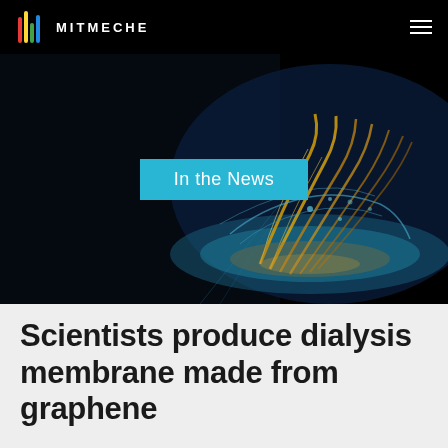MITMECHE
[Figure (photo): Dark background with illuminated golden mechanical/organic structure with blue and gold light effects, futuristic engineering visualization]
In the News
Scientists produce dialysis membrane made from graphene